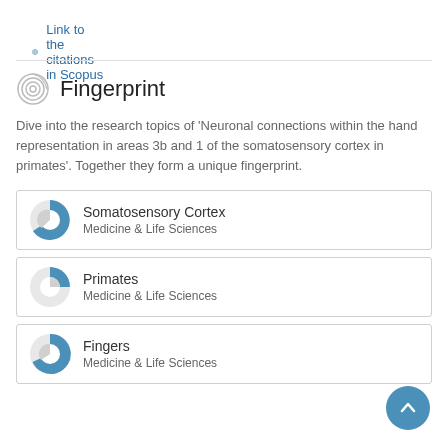Link to the citations in Scopus
Fingerprint
Dive into the research topics of 'Neuronal connections within the hand representation in areas 3b and 1 of the somatosensory cortex in primates'. Together they form a unique fingerprint.
Somatosensory Cortex
Medicine & Life Sciences
Primates
Medicine & Life Sciences
Fingers
Medicine & Life Sciences